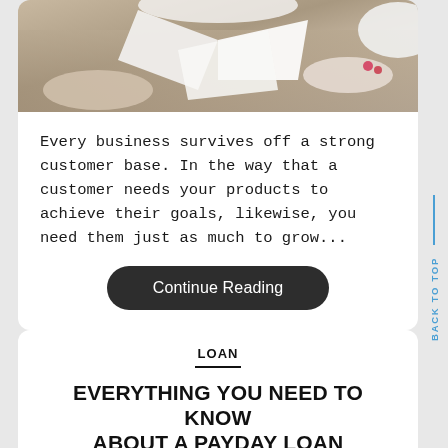[Figure (photo): Two people at a table exchanging or handling documents/papers, viewed from above. One person wearing white clothing with red nails visible.]
Every business survives off a strong customer base. In the way that a customer needs your products to achieve their goals, likewise, you need them just as much to grow...
Continue Reading
LOAN
EVERYTHING YOU NEED TO KNOW ABOUT A PAYDAY LOAN